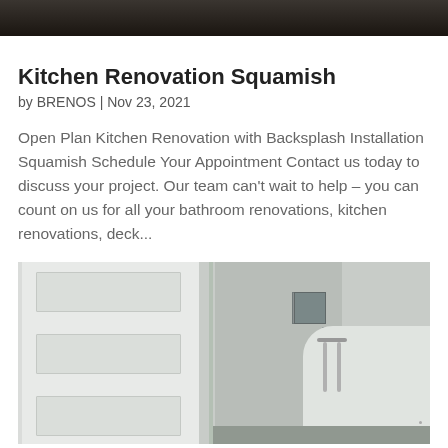[Figure (photo): Top partial image of a kitchen or interior renovation, dark toned, cropped at top of page]
Kitchen Renovation Squamish
by BRENOS | Nov 23, 2021
Open Plan Kitchen Renovation with Backsplash Installation Squamish Schedule Your Appointment Contact us today to discuss your project. Our team can’t wait to help – you can count on us for all your bathroom renovations, kitchen renovations, deck...
[Figure (photo): Bathroom renovation photo showing white built-in shelving unit on the left, a glass shower enclosure in the center with patterned tile, and a modern freestanding bathtub with chrome fixtures on the right]